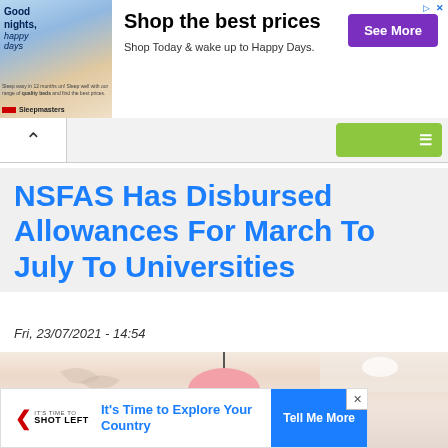[Figure (other): Sleepmasters advertisement banner with person lying on bed, text 'Good nights, happy days', 'Shop the best prices', 'Shop Today & wake up to Happy Days.', 'See More' purple button]
[Figure (other): Navigation bar with up chevron on left and green button on right]
NSFAS Has Disbursed Allowances For March To July To Universities
Fri, 23/07/2021 - 14:54
[Figure (photo): Interior room photo showing a pink pendant lamp hanging from ceiling with wall decoration in background]
Advertisement
[Figure (other): Shot Left advertisement: 'It's Time to Explore Your Country' with 'Tell Me More' blue button and X close button]